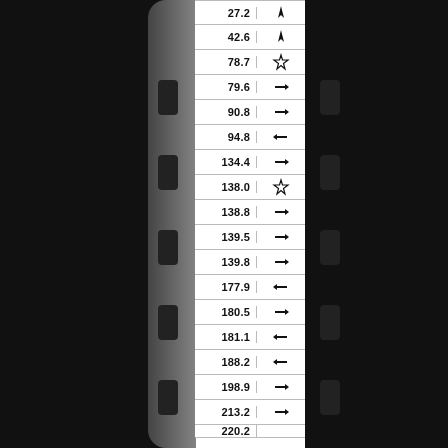[Figure (photo): A GPS device or cycling computer showing a route strip with distance values and directional arrow/star icons. The device has a dark gray housing. The white label strip in the center lists distances and turn direction symbols.]
| Distance | Direction |
| --- | --- |
| 27.2 | ↑ |
| 42.6 | ↑ |
| 78.7 | ☆ |
| 79.6 | → |
| 90.8 | → |
| 94.8 | ← |
| 134.4 | → |
| 138.0 | ☆ |
| 138.8 | → |
| 139.5 | → |
| 139.8 | → |
| 177.9 | ← |
| 180.5 | → |
| 181.1 | ← |
| 188.2 | ← |
| 198.9 | → |
| 213.2 | → |
| 220.2 | ... |